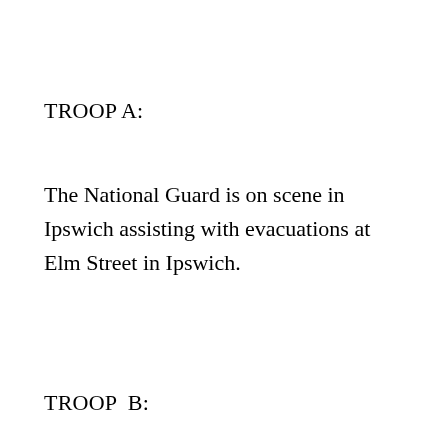TROOP A:
The National Guard is on scene in Ipswich assisting with evacuations at Elm Street in Ipswich.
TROOP  B: